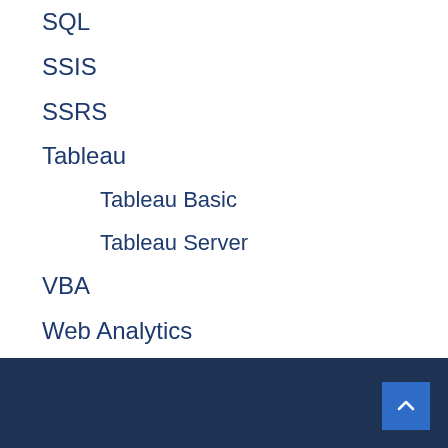SQL
SSIS
SSRS
Tableau
Tableau Basic
Tableau Server
VBA
Web Analytics